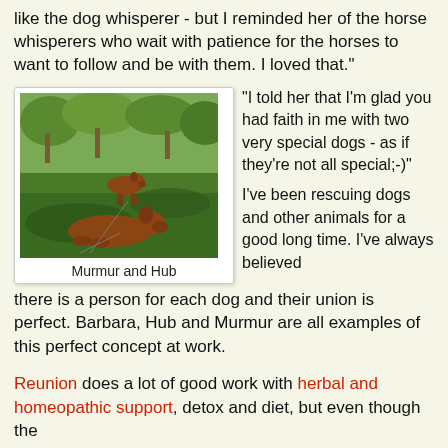like the dog whisperer - but I reminded her of the horse whisperers who wait with patience for the horses to want to follow and be with them. I loved that."
[Figure (photo): Two brown/red dogs in a grassy outdoor area with trees in the background. One dog is standing and one is lying down on the grass.]
Murmur and Hub
"I told her that I'm glad you had faith in me with two very special dogs - as if they're not all special;-)"
I've been rescuing dogs and other animals for a good long time. I've always believed there is a person for each dog and their union is perfect. Barbara, Hub and Murmur are all examples of this perfect concept at work.
Reunion does a lot of good work with herbal and homeopathic support, detox and diet, but even though the